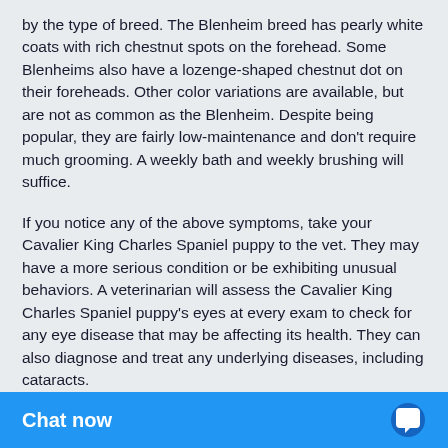by the type of breed. The Blenheim breed has pearly white coats with rich chestnut spots on the forehead. Some Blenheims also have a lozenge-shaped chestnut dot on their foreheads. Other color variations are available, but are not as common as the Blenheim. Despite being popular, they are fairly low-maintenance and don't require much grooming. A weekly bath and weekly brushing will suffice.
If you notice any of the above symptoms, take your Cavalier King Charles Spaniel puppy to the vet. They may have a more serious condition or be exhibiting unusual behaviors. A veterinarian will assess the Cavalier King Charles Spaniel puppy's eyes at every exam to check for any eye disease that may be affecting its health. They can also diagnose and treat any underlying diseases, including cataracts.
They are obedient
Cavaliers are excellent with children. They are not easily startled and don't mind being grabbed. In public, though, they should be on a leash and may react badly to h...